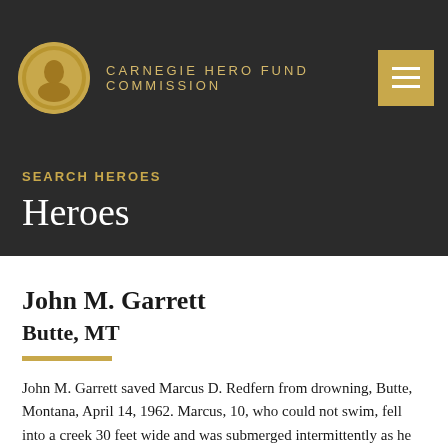CARNEGIE HERO FUND COMMISSION
SEARCH HEROES
Heroes
John M. Garrett
Butte, MT
John M. Garrett saved Marcus D. Redfern from drowning, Butte, Montana, April 14, 1962. Marcus, 10, who could not swim, fell into a creek 30 feet wide and was submerged intermittently as he flailed wildly, his actions carrying him to midstream where the water was six feet deep. John, 13,